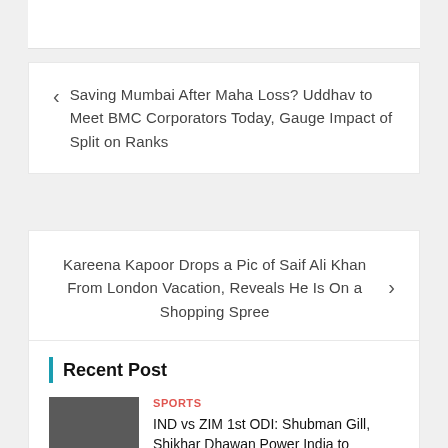Saving Mumbai After Maha Loss? Uddhav to Meet BMC Corporators Today, Gauge Impact of Split on Ranks
Kareena Kapoor Drops a Pic of Saif Ali Khan From London Vacation, Reveals He Is On a Shopping Spree
Recent Post
SPORTS
IND vs ZIM 1st ODI: Shubman Gill, Shikhar Dhawan Power India to Comprehensive 10-wicket Win Over Zimbabwe
August 18, 2022 / news